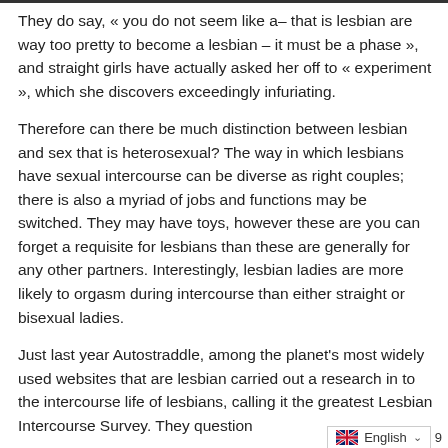They do say, « you do not seem like a– that is lesbian are way too pretty to become a lesbian – it must be a phase », and straight girls have actually asked her off to « experiment », which she discovers exceedingly infuriating.
Therefore can there be much distinction between lesbian and sex that is heterosexual? The way in which lesbians have sexual intercourse can be diverse as right couples; there is also a myriad of jobs and functions may be switched. They may have toys, however these are you can forget a requisite for lesbians than these are generally for any other partners. Interestingly, lesbian ladies are more likely to orgasm during intercourse than either straight or bisexual ladies.
Just last year Autostraddle, among the planet's most widely used websites that are lesbian carried out a research in to the intercourse life of lesbians, calling it the greatest Lesbian Intercourse Survey. They question
English  9